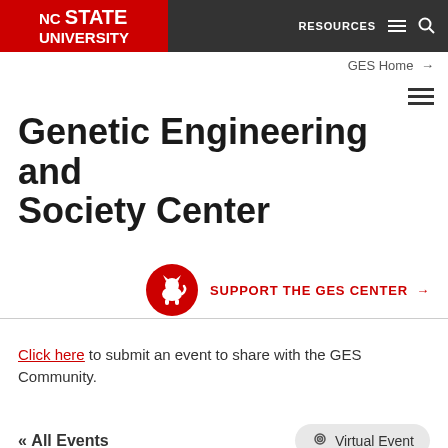NC STATE UNIVERSITY | RESOURCES | GES Home →
Genetic Engineering and Society Center
[Figure (logo): Red circle with white wolf silhouette icon, followed by SUPPORT THE GES CENTER link with arrow]
Click here to submit an event to share with the GES Community.
« All Events    Virtual Event